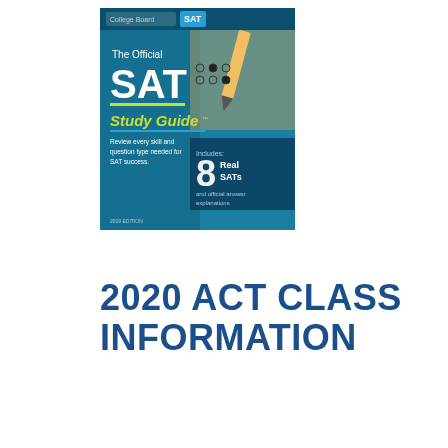[Figure (photo): Book cover of 'The Official SAT Study Guide' published by College Board. Features a teal/blue background with the College Board SAT logo, a pencil and bubble sheet photo, large SAT text, 'Study Guide' subtitle, tagline 'Review every skill and question type needed for SAT success.', and '8 Real SATs and official answer explanations' callout.]
2020 ACT CLASS INFORMATION